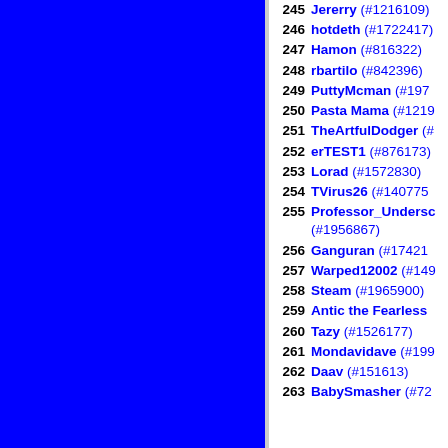[Figure (other): Solid blue rectangle panel on the left side of the page]
245 Jererry (#1216109)
246 hotdeth (#1722417)
247 Hamon (#816322)
248 rbartilo (#842396)
249 PuttyMcman (#197...)
250 Pasta Mama (#1219...)
251 TheArtfulDodger (#...)
252 erTEST1 (#876173)
253 Lorad (#1572830)
254 TVirus26 (#140775...)
255 Professor_Undersc... (#1956867)
256 Ganguran (#17421...)
257 Warped12002 (#149...)
258 Steam (#1965900)
259 Antic the Fearless
260 Tazy (#1526177)
261 Mondavidave (#199...)
262 Daav (#151613)
263 BabySmasher (#72...)